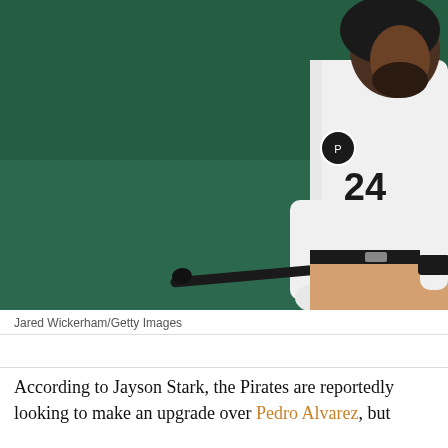[Figure (photo): A Pittsburgh Pirates baseball player wearing number 24 in a white Pirates uniform with black belt, holding a bat at his side, looking upward. The background is a dark green outfield wall. The player has a beard and is wearing batting gloves.]
Jared Wickerham/Getty Images
According to Jayson Stark, the Pirates are reportedly looking to make an upgrade over Pedro Alvarez, but